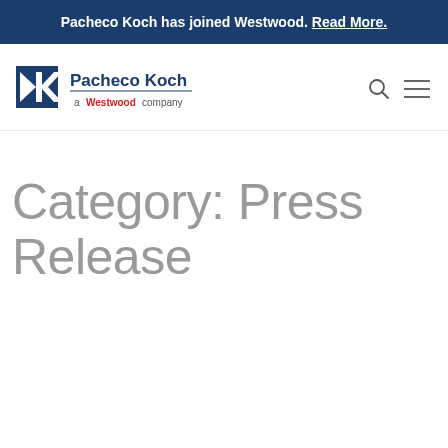Pacheco Koch has joined Westwood. Read More.
[Figure (logo): Pacheco Koch logo with tagline 'a Westwood company']
Category: Press Release